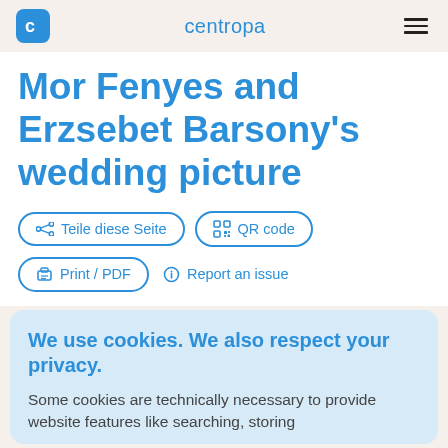centropa
Mor Fenyes and Erzsebet Barsony's wedding picture
Teile diese Seite
QR code
Print / PDF
Report an issue
We use cookies. We also respect your privacy.
Some cookies are technically necessary to provide website features like searching, storing